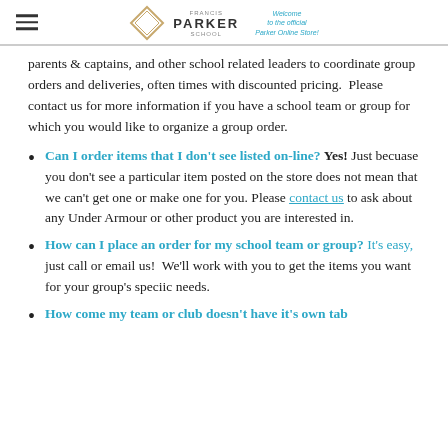FRANCIS PARKER SCHOOL — Welcome to the official Parker Online Store!
parents & captains, and other school related leaders to coordinate group orders and deliveries, often times with discounted pricing.  Please contact us for more information if you have a school team or group for which you would like to organize a group order.
Can I order items that I don't see listed on-line? Yes! Just becuase you don't see a particular item posted on the store does not mean that we can't get one or make one for you. Please contact us to ask about any Under Armour or other product you are interested in.
How can I place an order for my school team or group? It's easy, just call or email us!  We'll work with you to get the items you want for your group's speciic needs.
How come my team or club doesn't have it's own tab